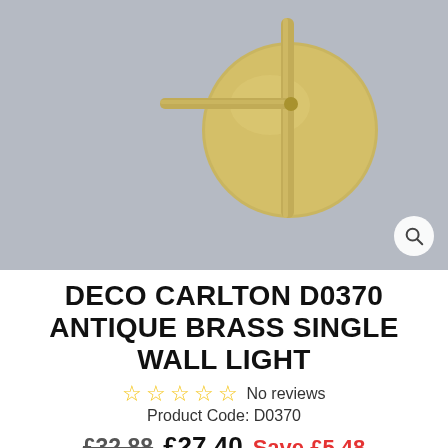[Figure (photo): Antique brass wall light backplate and arm mounted on a grey wall, product photo for Deco Carlton D0370.]
DECO CARLTON D0370 ANTIQUE BRASS SINGLE WALL LIGHT
☆☆☆☆☆ No reviews
Product Code: D0370
£32.88  £27.40  Save £5.48